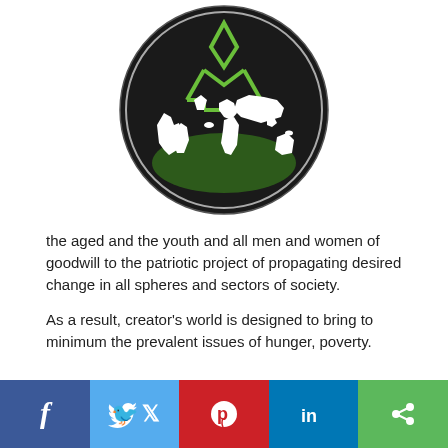[Figure (logo): Circular black logo with green X/diamond symbol and white world map silhouette on dark green globe]
the aged and the youth and all men and women of goodwill to the patriotic project of propagating desired change in all spheres and sectors of society.
As a result, creator's world is designed to bring to minimum the prevalent issues of hunger, poverty.
[Figure (infographic): Social media share bar with Facebook, Twitter, Pinterest, LinkedIn, and Share buttons]